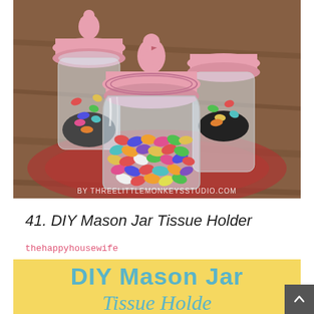[Figure (photo): Photo of three mason jars filled with colorful jelly beans, topped with pink lids decorated with a pink flamingo figurine. Watermark reads: BY THREELITTLEMONKEYSSTUDIO.COM]
41. DIY Mason Jar Tissue Holder
thehappyhousewife
[Figure (photo): Yellow background banner image with teal/blue text reading 'DIY Mason Jar Tissue Holde...' (partially visible)]